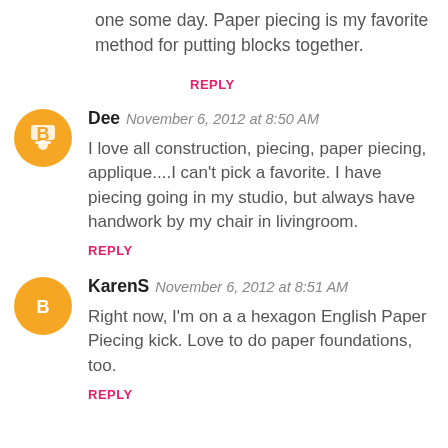one some day. Paper piecing is my favorite method for putting blocks together.
REPLY
Dee  November 6, 2012 at 8:50 AM
I love all construction, piecing, paper piecing, applique....I can't pick a favorite. I have piecing going in my studio, but always have handwork by my chair in livingroom.
REPLY
KarenS  November 6, 2012 at 8:51 AM
Right now, I'm on a a hexagon English Paper Piecing kick. Love to do paper foundations, too.
REPLY